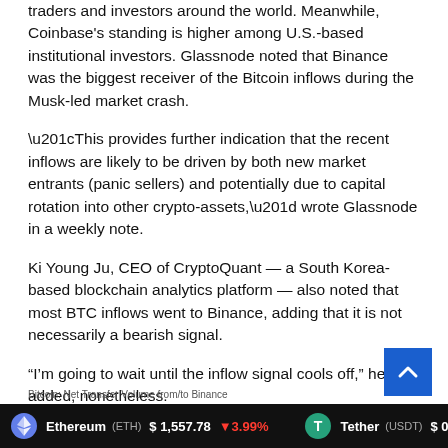traders and investors around the world. Meanwhile, Coinbase's standing is higher among U.S.-based institutional investors. Glassnode noted that Binance was the biggest receiver of the Bitcoin inflows during the Musk-led market crash.
“This provides further indication that the recent inflows are likely to be driven by both new market entrants (panic sellers) and potentially due to capital rotation into other crypto-assets,” wrote Glassnode in a weekly note.
Ki Young Ju, CEO of CryptoQuant — a South Korea-based blockchain analytics platform — also noted that most BTC inflows went to Binance, adding that it is not necessarily a bearish signal.
“I’m going to wait until the inflow signal cools off,” he added, nonetheless.
Bitcoin: Net Transfer Volume from/to Binance
Ethereum (ETH) $1,557.78 ▼3.99%   Tether (USDT) $0.99972